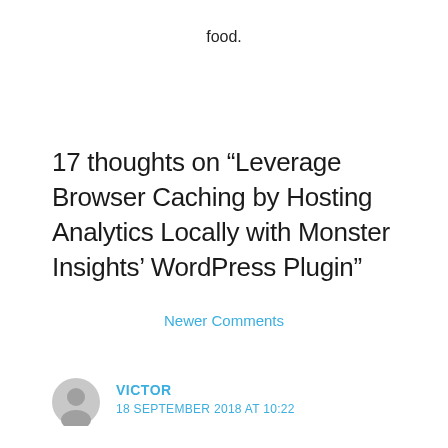food.
17 thoughts on “Leverage Browser Caching by Hosting Analytics Locally with Monster Insights’ WordPress Plugin”
Newer Comments
VICTOR
18 SEPTEMBER 2018 AT 10:22